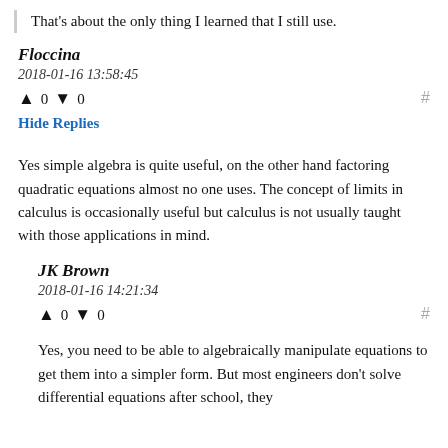That's about the only thing I learned that I still use.
Floccina
2018-01-16 13:58:45
↑ 0 ↓ 0
Hide Replies
Yes simple algebra is quite useful, on the other hand factoring quadratic equations almost no one uses. The concept of limits in calculus is occasionally useful but calculus is not usually taught with those applications in mind.
JK Brown
2018-01-16 14:21:34
↑ 0 ↓ 0
Yes, you need to be able to algebraically manipulate equations to get them into a simpler form. But most engineers don't solve differential equations after school, they